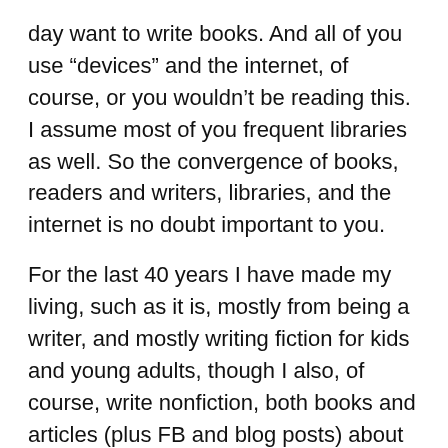day want to write books. And all of you use “devices” and the internet, of course, or you wouldn’t be reading this. I assume most of you frequent libraries as well. So the convergence of books, readers and writers, libraries, and the internet is no doubt important to you.
For the last 40 years I have made my living, such as it is, mostly from being a writer, and mostly writing fiction for kids and young adults, though I also, of course, write nonfiction, both books and articles (plus FB and blog posts) about the gifted. In the image above the top shelf has my fiction and the lower shelf has books I have chapters or stories in, my nonfiction books, some translations and some plays. Physical copies! And all indubitably “mine.”
A few weeks ago, the Authors Guild, of which I’ve been a